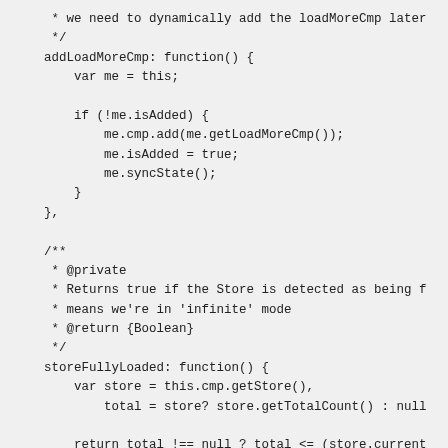* we need to dynamically add the loadMoreCmp later
     */
    addLoadMoreCmp: function() {
        var me = this;

        if (!me.isAdded) {
            me.cmp.add(me.getLoadMoreCmp());
            me.isAdded = true;
            me.syncState();
        }
    },

    /**
     * @private
     * Returns true if the Store is detected as being f
     * means we're in 'infinite' mode
     * @return {Boolean}
     */
    storeFullyLoaded: function() {
        var store = this.cmp.getStore(),
            total = store? store.getTotalCount() : null

        return total !== null ? total <= (store.current
    },